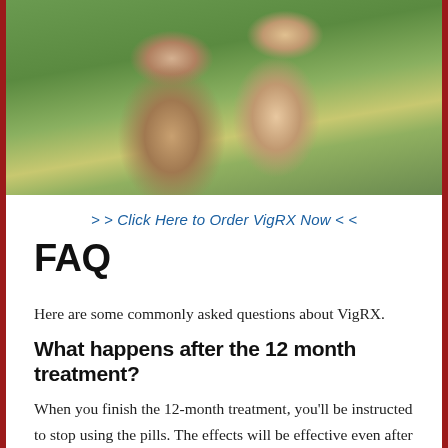[Figure (photo): A couple outdoors in a grassy field with yellow flowers. A man with a beard is giving a woman with curly hair a piggyback ride. Both are smiling.]
> > Click Here to Order VigRX Now < <
FAQ
Here are some commonly asked questions about VigRX.
What happens after the 12 month treatment?
When you finish the 12-month treatment, you'll be instructed to stop using the pills. The effects will be effective even after one or two years after you've been taking them. Some people